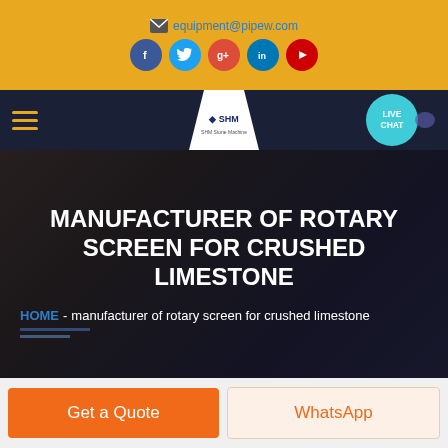equipment@pipew.com
[Figure (infographic): Social media icons: Facebook (blue circle), Twitter (cyan circle), Google+ (red circle), LinkedIn (blue circle), YouTube (red circle)]
[Figure (logo): SHM logo in white trapezoid shape on dark navy navigation bar, with hamburger menu on left and Live Chat bubble on right]
MANUFACTURER OF ROTARY SCREEN FOR CRUSHED LIMESTONE
HOME  -  manufacturer of rotary screen for crushed limestone
Get a Quote
WhatsApp